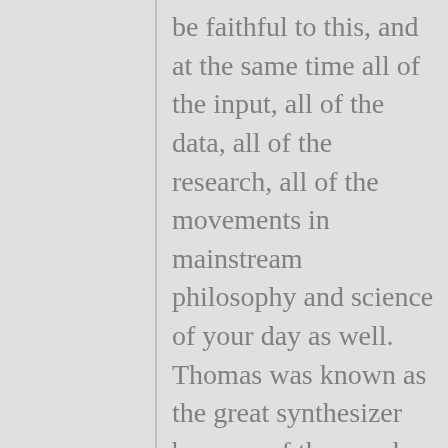be faithful to this, and at the same time all of the input, all of the data, all of the research, all of the movements in mainstream philosophy and science of your day as well. Thomas was known as the great synthesizer because of the way he brought Aristotelian thought and Christian thought together, which at the time, nobody thought you could do that. Aristotle had kind of been forgotten